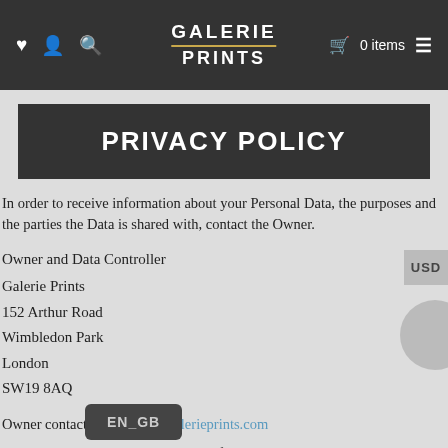GALERIE PRINTS  ♥ 👤 🔍  🛒 0 items ≡
PRIVACY POLICY
In order to receive information about your Personal Data, the purposes and the parties the Data is shared with, contact the Owner.
Owner and Data Controller
Galerie Prints
152 Arthur Road
Wimbledon Park
London
SW19 8AQ
Owner contact email: info@galerieprints.com
Complete information on each type of Personal Data collected are provided